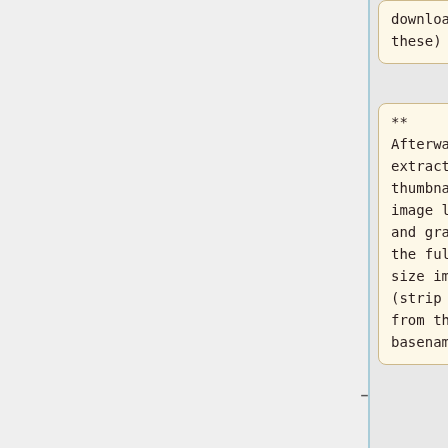downloading these)
** Afterwards, extract all thumbnail image links and grab the full size images (strip _sm2 from the basename)
*** Done! grep -hPo 'http.*?_sm2.jpg' fileinfo*/fileinfo.log | sed 's/ sm2//'